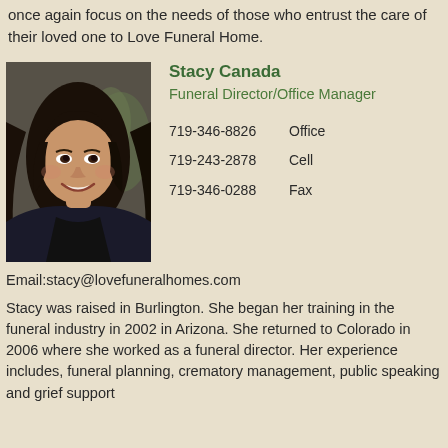once again focus on the needs of those who entrust the care of their loved one to Love Funeral Home.
[Figure (photo): Portrait photo of Stacy Canada, a woman with long dark wavy hair, smiling, wearing a dark jacket, with a plant visible in the background.]
Stacy Canada
Funeral Director/Office Manager
719-346-8826   Office
719-243-2878   Cell
719-346-0288   Fax
Email:stacy@lovefuneralhomes.com
Stacy was raised in Burlington. She began her training in the funeral industry in 2002 in Arizona. She returned to Colorado in 2006 where she worked as a funeral director. Her experience includes, funeral planning, crematory management, public speaking and grief support